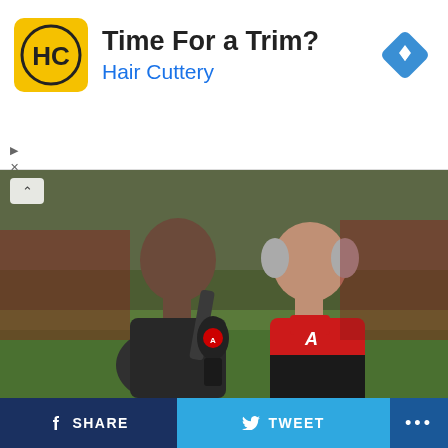[Figure (infographic): Hair Cuttery advertisement banner with yellow logo showing HC initials, text 'Time For a Trim?' and 'Hair Cuttery' in blue, and a blue diamond navigation icon on the right]
[Figure (photo): A sports broadcaster holding a microphone interviews a man in a red Alabama jacket on a football field sideline. Other people visible in background.]
Listeners tuning in to Alabama's 2022 season opener on the radio on Saturday night will hear new voices calling the action.
SHARE   TWEET   ...